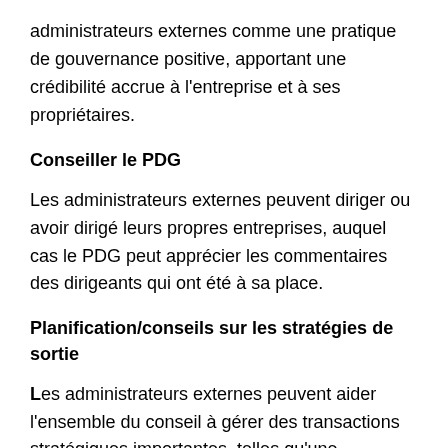administrateurs externes comme une pratique de gouvernance positive, apportant une crédibilité accrue à l'entreprise et à ses propriétaires.
Conseiller le PDG
Les administrateurs externes peuvent diriger ou avoir dirigé leurs propres entreprises, auquel cas le PDG peut apprécier les commentaires des dirigeants qui ont été à sa place.
Planification/conseils sur les stratégies de sortie
Les administrateurs externes peuvent aider l'ensemble du conseil à gérer des transactions stratégiques importantes, telles qu'une introduction en bourse, en minimisant les perturbations liées au retrait d'un investisseur ou à d'autres changements de propriétés.